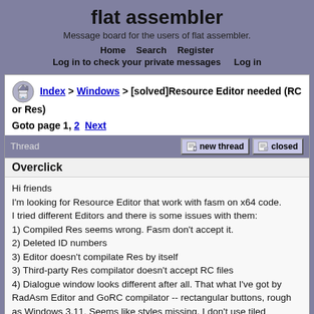flat assembler
Message board for the users of flat assembler.
Home  Search  Register  Log in to check your private messages  Log in
Index > Windows > [solved]Resource Editor needed (RC or Res)
Goto page 1, 2 Next
Thread   new thread   closed
Overclick
Hi friends
I'm looking for Resource Editor that work with fasm on x64 code.
I tried different Editors and there is some issues with them:
1) Compiled Res seems wrong. Fasm don't accept it.
2) Deleted ID numbers
3) Editor doesn't compilate Res by itself
3) Third-party Res compilator doesn't accept RC files
4) Dialogue window looks different after all. That what I've got by RadAsm Editor and GoRC compilator -- rectangular buttons, rough as Windows 3.11. Seems like styles missing. I don't use tiled Windows if you ask.

Maybe some of you created macros to convert RC without Res or...